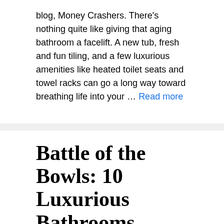blog, Money Crashers. There's nothing quite like giving that aging bathroom a facelift. A new tub, fresh and fun tiling, and a few luxurious amenities like heated toilet seats and towel racks can go a long way toward breathing life into your … Read more
Battle of the Bowls: 10 Luxurious Bathrooms From Around the World
June 14, 2013 by Julia Ritzenthaler